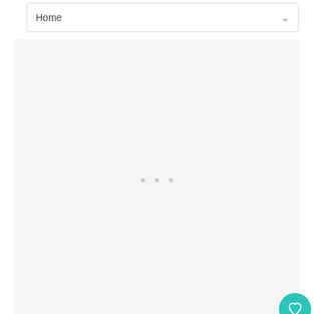Home
[Figure (other): Advertisement placeholder area with light gray background and three small dots indicating loading]
[Figure (other): Heart/like button (teal circle with white heart icon), like count showing 1, and share button (white circle with share icon)]
When portions of edible flowers are d... pull petals or edible portions from fre... and snip off the petals from the base of the
[Figure (other): WHAT'S NEXT overlay with teal arrow, flower thumbnail image (purple flower), and text 'Rose and Insects –...']